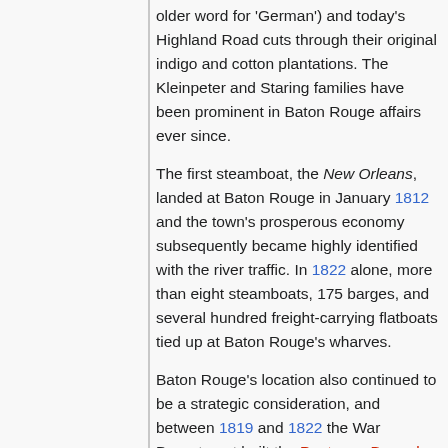older word for 'German') and today's Highland Road cuts through their original indigo and cotton plantations. The Kleinpeter and Staring families have been prominent in Baton Rouge affairs ever since.
The first steamboat, the New Orleans, landed at Baton Rouge in January 1812 and the town's prosperous economy subsequently became highly identified with the river traffic. In 1822 alone, more than eight steamboats, 175 barges, and several hundred freight-carrying flatboats tied up at Baton Rouge's wharves.
Baton Rouge's location also continued to be a strategic consideration, and between 1819 and 1822 the War Department built the Pentagon Barracks near the site of old Fort San Carlos as quarters for an infantry regiment; much of the construction was supervised by Lt. Col. Zachary Taylor. (Taylor liked Baton Rouge so much he made the town his official residence and bought a cotton plantation nearby in West Feliciana Parish.) In the 1830s, a federal arsenal was built near the barracks, on the